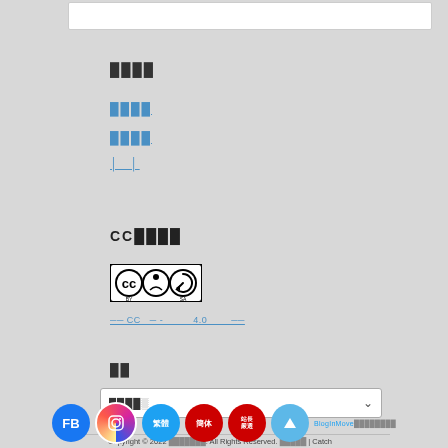[Figure (other): White input/search bar at top of page]
████
████
████
│  │
CC████
[Figure (logo): Creative Commons BY-SA license badge with CC, person, and refresh icons]
── CC ─ - ────────── 4.0 ──────── .
██
[Figure (other): Dropdown selector with placeholder text ████░]
Copyright © 2022 ███████. All Rights Reserved. █████ | Catch
[Figure (other): Row of social/navigation icons: FB, Instagram, 繁體, 簡体, 站長嚴選, up-arrow. BlogInMove text.]